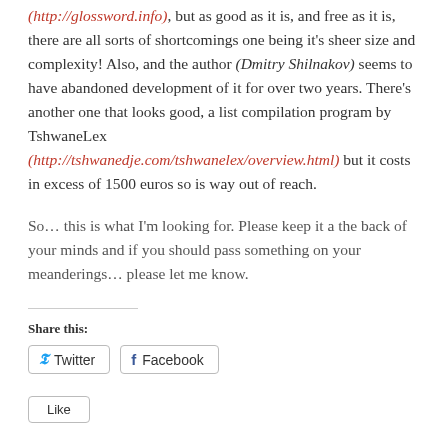(http://glossword.info), but as good as it is, and free as it is, there are all sorts of shortcomings one being it's sheer size and complexity! Also, and the author (Dmitry Shilnakov) seems to have abandoned development of it for over two years. There's another one that looks good, a list compilation program by TshwaneLex (http://tshwanedje.com/tshwanelex/overview.html) but it costs in excess of 1500 euros so is way out of reach.
So… this is what I'm looking for. Please keep it a the back of your minds and if you should pass something on your meanderings… please let me know.
Share this: